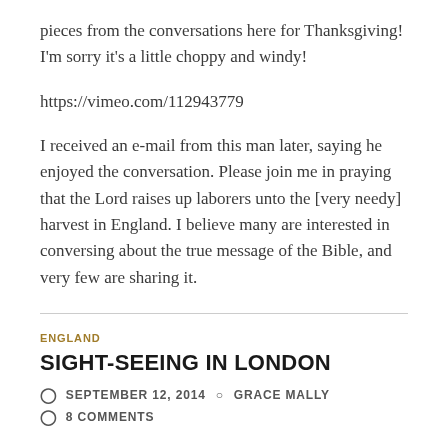pieces from the conversations here for Thanksgiving! I'm sorry it's a little choppy and windy!
https://vimeo.com/112943779
I received an e-mail from this man later, saying he enjoyed the conversation. Please join me in praying that the Lord raises up laborers unto the [very needy] harvest in England. I believe many are interested in conversing about the true message of the Bible, and very few are sharing it.
ENGLAND
SIGHT-SEEING IN LONDON
SEPTEMBER 12, 2014   GRACE MALLY
8 COMMENTS